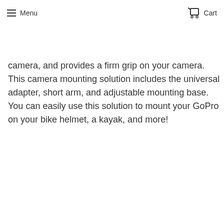≡ Menu   Cart
camera, and provides a firm grip on your camera. This camera mounting solution includes the universal adapter, short arm, and adjustable mounting base. You can easily use this solution to mount your GoPro on your bike helmet, a kayak, and more!